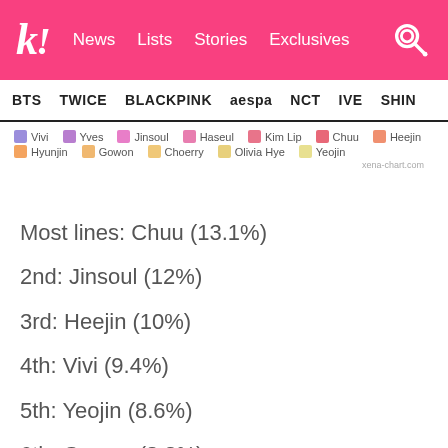k! News Lists Stories Exclusives
BTS TWICE BLACKPINK aespa NCT IVE SHIN
[Figure (other): Legend for pie/donut chart showing LOONA members: Vivi, Yves, Jinsoul, Haseul, Kim Lip, Chuu, Heejin, Hyunjin, Gowon, Choerry, Olivia Hye, Yeojin with colored boxes]
Most lines: Chuu (13.1%)
2nd: Jinsoul (12%)
3rd: Heejin (10%)
4th: Vivi (9.4%)
5th: Yeojin (8.6%)
6th: Gowon (8.3%)